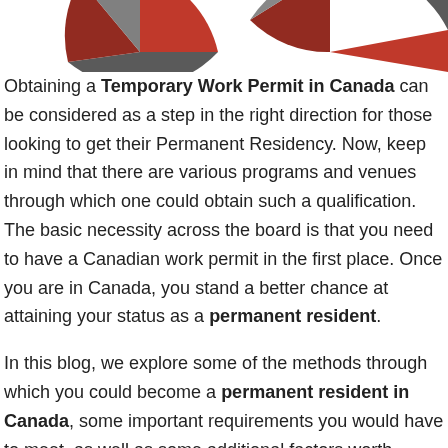[Figure (pie-chart): Partial view of two pie charts cropped at the top of the page, showing red, dark red, and grey/dark segments. Charts are partially visible.]
Obtaining a Temporary Work Permit in Canada can be considered as a step in the right direction for those looking to get their Permanent Residency. Now, keep in mind that there are various programs and venues through which one could obtain such a qualification. The basic necessity across the board is that you need to have a Canadian work permit in the first place. Once you are in Canada, you stand a better chance at attaining your status as a permanent resident.
In this blog, we explore some of the methods through which you could become a permanent resident in Canada, some important requirements you would have to meet, as well as some additional factors worth considering. Before we dive in, please note that the below facts and figures are only taken up until March of 2022. The values represent the reality of the